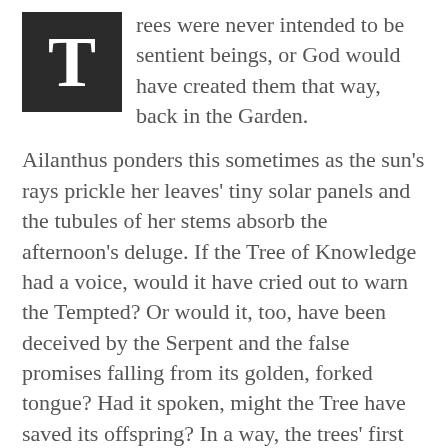Trees were never intended to be sentient beings, or God would have created them that way, back in the Garden.
Ailanthus ponders this sometimes as the sun's rays prickle her leaves' tiny solar panels and the tubules of her stems absorb the afternoon's deluge. If the Tree of Knowledge had a voice, would it have cried out to warn the Tempted? Or would it, too, have been deceived by the Serpent and the false promises falling from its golden, forked tongue? Had it spoken, might the Tree have saved its offspring? In a way, the trees' first parents had failed them, too.
Though admittedly, Ailanthus is not a natural tree, composed of wood and leaf and bark. No, she was created by another hand, forged of copper and steel